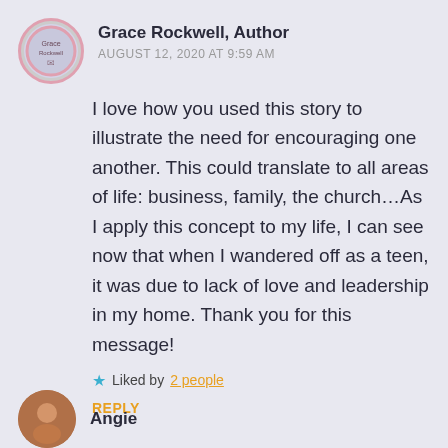Grace Rockwell, Author
AUGUST 12, 2020 AT 9:59 AM
I love how you used this story to illustrate the need for encouraging one another. This could translate to all areas of life: business, family, the church…As I apply this concept to my life, I can see now that when I wandered off as a teen, it was due to lack of love and leadership in my home. Thank you for this message!
Liked by 2 people
REPLY
Angie